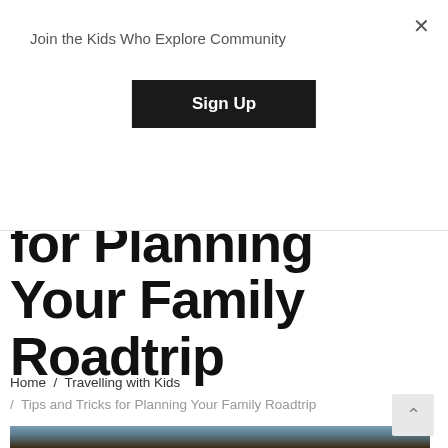Join the Kids Who Explore Community
Sign Up
Tips and Tricks for Planning Your Family Roadtrip
Home / Travelling with Kids / Tips and Tricks for Planning Your Family Roadtrip
[Figure (photo): Outdoor landscape photo showing a child from behind with blond/light hair, standing in a field with a dark sky horizon, blurred background in browns and blues.]